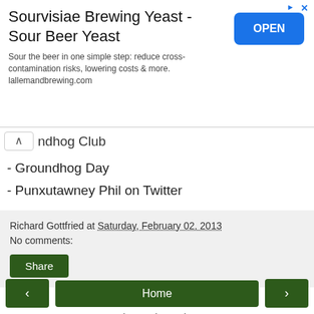[Figure (screenshot): Advertisement banner for Sourvisiae Brewing Yeast - Sour Beer Yeast with an OPEN button]
ndhog Club
- Groundhog Day
- Punxutawney Phil on Twitter
Richard Gottfried at Saturday, February 02, 2013
No comments:
Share
< Home >
View web version
About Me